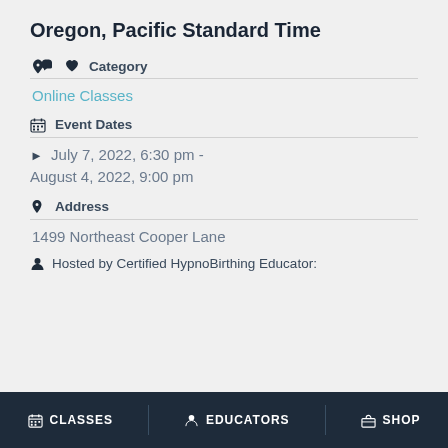Oregon, Pacific Standard Time
Category
Online Classes
Event Dates
July 7, 2022, 6:30 pm - August 4, 2022, 9:00 pm
Address
1499 Northeast Cooper Lane
Hosted by Certified HypnoBirthing Educator:
CLASSES | EDUCATORS | SHOP